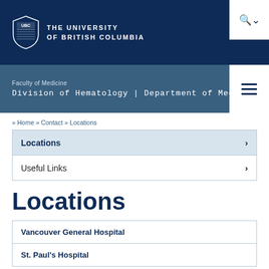THE UNIVERSITY OF BRITISH COLUMBIA
Faculty of Medicine
Division of Hematology | Department of Medicine
» Home » Contact » Locations
Locations
Useful Links
Locations
Vancouver General Hospital
St. Paul's Hospital